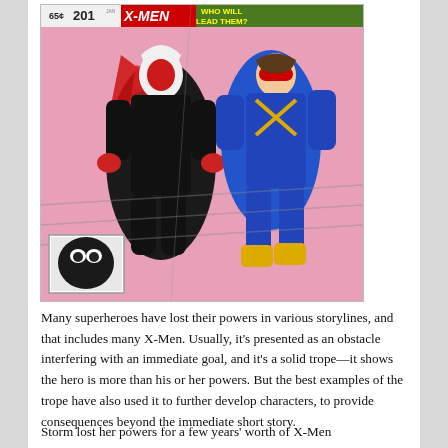[Figure (illustration): Comic book cover for X-Men #201 showing two superhero characters fighting. One character in black and red costume and one in blue and yellow costume. Text at top reads 'WHO WILL LEAD THEM?' with issue number 201 and price 65 cents. A small inset box in lower left shows a masked face.]
Many superheroes have lost their powers in various storylines, and that includes many X-Men. Usually, it's presented as an obstacle interfering with an immediate goal, and it's a solid trope—it shows the hero is more than his or her powers. But the best examples of the trope have also used it to further develop characters, to provide consequences beyond the immediate short story.
Storm lost her powers for a few years' worth of X-Men